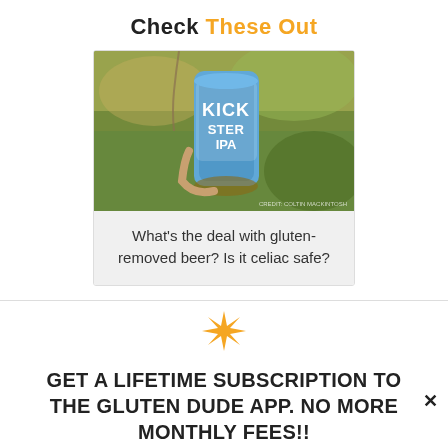Check These Out
[Figure (photo): Photo of a hand holding a Kickstarter IPA beer can outdoors with mud and nature in background]
What's the deal with gluten-removed beer? Is it celiac safe?
[Figure (illustration): Orange 8-pointed star/snowflake decorative icon]
GET A LIFETIME SUBSCRIPTION TO THE GLUTEN DUDE APP. NO MORE MONTHLY FEES!!
DETAILS